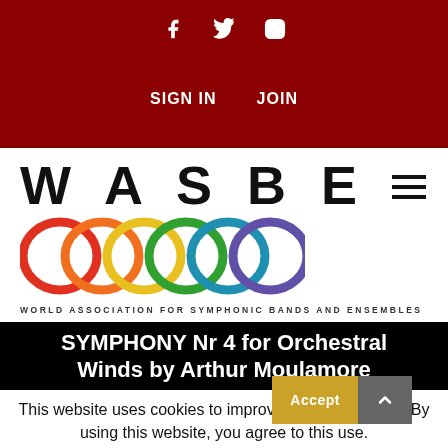Social icons: Facebook, Twitter, Instagram
SIGN IN   JOIN
[Figure (logo): WASBE logo with colored interlocking rings and text WORLD ASSOCIATION FOR SYMPHONIC BANDS AND ENSEMBLES]
SYMPHONY Nr 4 for Orchestral Winds by Arthur Moulamore
This website uses cookies to improve your experience. By using this website, you agree to this use.
Read More